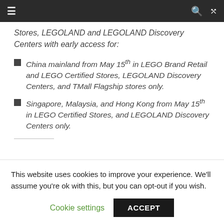Navigation bar with menu, search, and shuffle icons
Stores, LEGOLAND and LEGOLAND Discovery Centers with early access for:
China mainland from May 15th in LEGO Brand Retail and LEGO Certified Stores, LEGOLAND Discovery Centers, and TMall Flagship stores only.
Singapore, Malaysia, and Hong Kong from May 15th in LEGO Certified Stores, and LEGOLAND Discovery Centers only.
This website uses cookies to improve your experience. We'll assume you're ok with this, but you can opt-out if you wish.
Cookie settings  ACCEPT